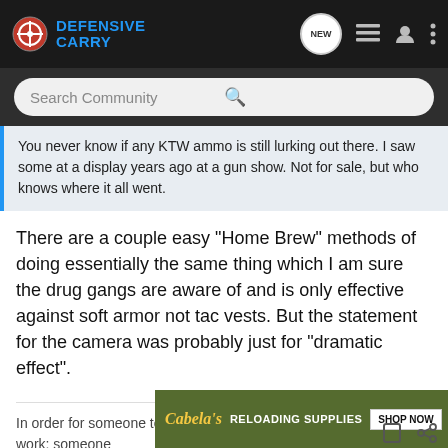Defensive Carry
Search Community
You never know if any KTW ammo is still lurking out there. I saw some at a display years ago at a gun show. Not for sale, but who knows where it all went.
There are a couple easy "Home Brew" methods of doing essentially the same thing which I am sure the drug gangs are aware of and is only effective against soft armor not tac vests. But the statement for the camera was probably just for "dramatic effect".
In order for someone to receive something for which they did not work; someone
[Figure (screenshot): Cabela's Reloading Supplies advertisement banner with 'SHOP NOW' button]